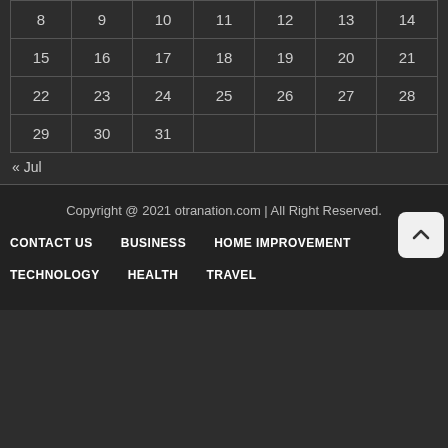| 8 | 9 | 10 | 11 | 12 | 13 | 14 |
| 15 | 16 | 17 | 18 | 19 | 20 | 21 |
| 22 | 23 | 24 | 25 | 26 | 27 | 28 |
| 29 | 30 | 31 |  |  |  |  |
« Jul
Copyright @ 2021 otranation.com | All Right Reserved.
CONTACT US
BUSINESS
HOME IMPROVEMENT
TECHNOLOGY
HEALTH
TRAVEL